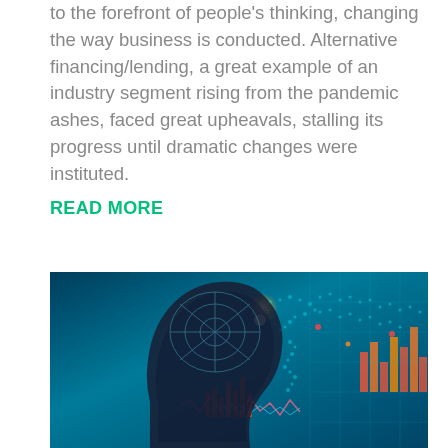to the forefront of people's thinking, changing the way business is conducted. Alternative financing/lending, a great example of an industry segment rising from the pandemic ashes, faced great upheavals, stalling its progress until dramatic changes were instituted.
READ MORE
[Figure (photo): AI concept image showing a human head silhouette in profile with digital brain visualizations, glowing data charts, bar graphs in orange/red, world map overlay in teal/blue, and futuristic technology elements on a blue-teal gradient background.]